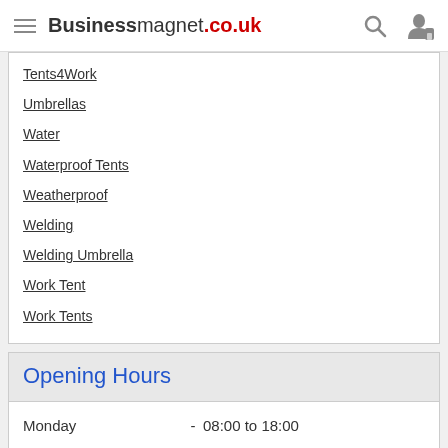Businessmagnet.co.uk
Tents4Work
Umbrellas
Water
Waterproof Tents
Weatherproof
Welding
Welding Umbrella
Work Tent
Work Tents
Opening Hours
| Day |  | Hours |
| --- | --- | --- |
| Monday | - | 08:00 to 18:00 |
| Tuesday | - | 08:00 to 18:00 |
| Wednesday | - | 08:00 to 18:00 |